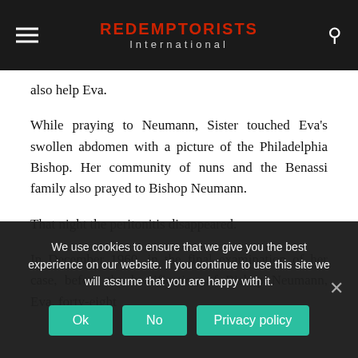REDEMPTORISTS International
also help Eva.
While praying to Neumann, Sister touched Eva's swollen abdomen with a picture of the Philadelphia Bishop. Her community of nuns and the Benassi family also prayed to Bishop Neumann.
That night the peritonitis disappeared.
In December 1960, in the final examination of her case, before the beatification of Bishop Neumann, Eva, forty-eight
We use cookies to ensure that we give you the best experience on our website. If you continue to use this site we will assume that you are happy with it.